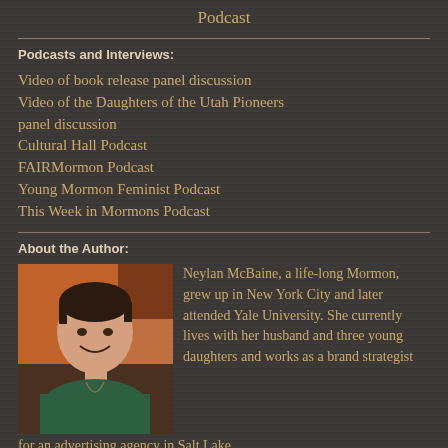Podcast
Podcasts and Interviews:
Video of book release panel discussion
Video of the Daughters of the Utah Pioneers panel discussion
Cultural Hall Podcast
FAIRMormon Podcast
Young Mormon Feminist Podcast
This Week in Mormons Podcast
About the Author:
[Figure (photo): Portrait photo of Neylan McBaine, a woman with short dark hair, smiling, wearing a green top, against an orange/brown geometric background]
Neylan McBaine, a life-long Mormon, grew up in New York City and later attended Yale University. She currently lives with her husband and three young daughters and works as a brand strategist for an advertising agency in Salt Lake